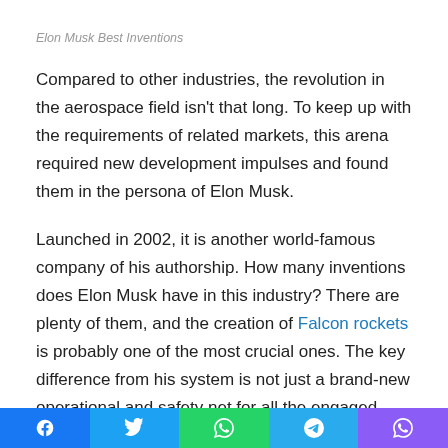Elon Musk Best Inventions
Compared to other industries, the revolution in the aerospace field isn't that long. To keep up with the requirements of related markets, this arena required new development impulses and found them in the persona of Elon Musk.
Launched in 2002, it is another world-famous company of his authorship. How many inventions does Elon Musk have in this industry? There are plenty of them, and the creation of Falcon rockets is probably one of the most crucial ones. The key difference from his system is not just a brand-new operational and safety net for all the engaged members. Taking into account that these mechanisms are reusable, the expected expenditures are reduced, which is a revolutionary
Social share bar: Facebook, Twitter, WhatsApp, Telegram, Viber